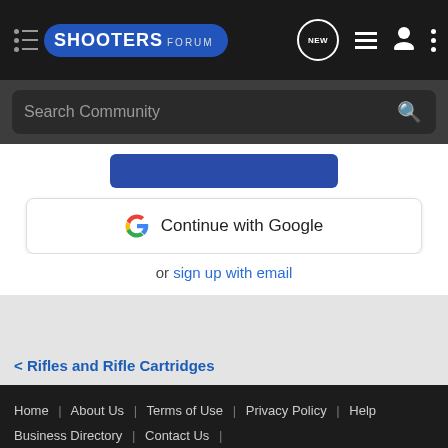Shooters Forum - Navigation bar with logo, NEW button, list icon, user icon, and more options
Search Community
[Figure (screenshot): Blue button partially visible at top of login modal]
Continue with Google
or sign up with email
< Rifles and Rifle Cartridges
Home | About Us | Terms of Use | Privacy Policy | Help | Business Directory | Contact Us | Grow Your Business NEW | RSS
[Figure (infographic): Cabela's advertisement banner showing HIGHEST-RATED GEAR with 4.9 star rating and gear image with play button]